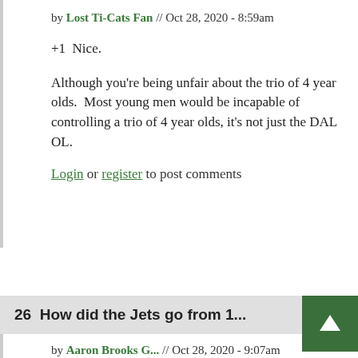by Lost Ti-Cats Fan // Oct 28, 2020 - 8:59am
+1  Nice.
Although you're being unfair about the trio of 4 year olds.  Most young men would be incapable of controlling a trio of 4 year olds, it's not just the DAL OL.
Login or register to post comments
26  How did the Jets go from 1...
by Aaron Brooks G... // Oct 28, 2020 - 9:07am
How did the Jets go from 1 estimated win to 0.1 estimated wins? I thought EW were a